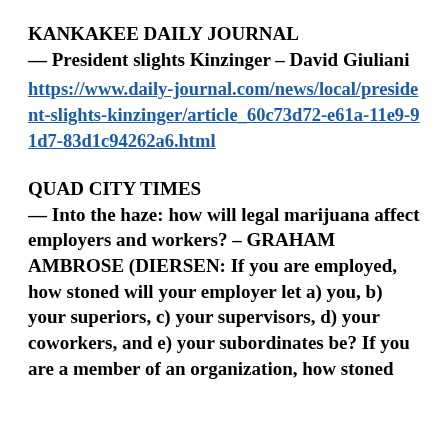KANKAKEE DAILY JOURNAL
— President slights Kinzinger – David Giuliani
https://www.daily-journal.com/news/local/president-slights-kinzinger/article_60c73d72-e61a-11e9-91d7-83d1c94262a6.html
QUAD CITY TIMES
— Into the haze: how will legal marijuana affect employers and workers? – GRAHAM AMBROSE (DIERSEN: If you are employed, how stoned will your employer let a) you, b) your superiors, c) your supervisors, d) your coworkers, and e) your subordinates be? If you are a member of an organization, how stoned